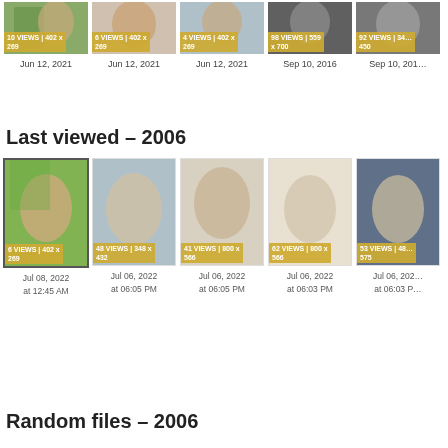[Figure (photo): Top strip of 5 thumbnail images with badges showing view counts and dates: Jun 12 2021 x3, Sep 10 2016 x2]
Last viewed – 2006
[Figure (photo): Gallery row of 5 portrait photos of blonde women with view count badges and dates in Jul 2022]
Random files – 2006